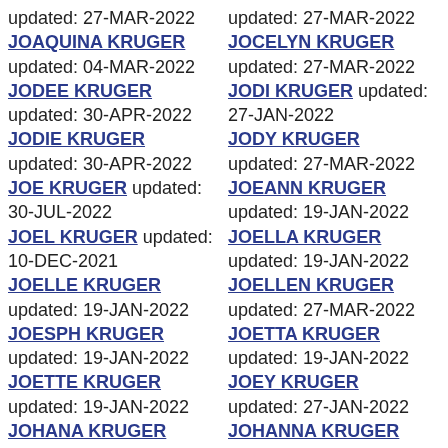updated: 27-MAR-2022 JOAQUINA KRUGER updated: 04-MAR-2022
JODEE KRUGER updated: 30-APR-2022
JODIE KRUGER updated: 30-APR-2022
JOE KRUGER updated: 30-JUL-2022
JOEL KRUGER updated: 10-DEC-2021
JOELLE KRUGER updated: 19-JAN-2022
JOESPH KRUGER updated: 19-JAN-2022
JOETTE KRUGER updated: 19-JAN-2022
JOHANA KRUGER updated: 19-JAN-2022
JOHANNE KRUGER
updated: 27-MAR-2022 JOCELYN KRUGER updated: 27-MAR-2022
JODI KRUGER updated: 27-JAN-2022
JODY KRUGER updated: 27-MAR-2022
JOEANN KRUGER updated: 19-JAN-2022
JOELLA KRUGER updated: 19-JAN-2022
JOELLEN KRUGER updated: 27-MAR-2022
JOETTA KRUGER updated: 19-JAN-2022
JOEY KRUGER updated: 27-JAN-2022
JOHANNA KRUGER updated: 27-MAR-2022
JOHN KRUGER